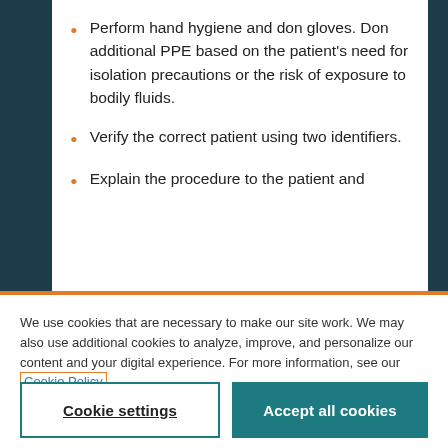Perform hand hygiene and don gloves. Don additional PPE based on the patient's need for isolation precautions or the risk of exposure to bodily fluids.
Verify the correct patient using two identifiers.
Explain the procedure to the patient and
We use cookies that are necessary to make our site work. We may also use additional cookies to analyze, improve, and personalize our content and your digital experience. For more information, see our Cookie Policy